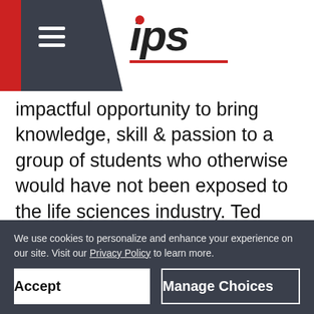[Figure (logo): IPS logo with red dot above 'i', italic bold text, and red underline, on dark gray header with hamburger menu icon]
impactful opportunity to bring knowledge, skill & passion to a group of students who otherwise would have not been exposed to the life sciences industry. Ted Cohen shares, “If this influences them and helps them to figure out what they want to do with their lives, then there was real value here. The students got a
We use cookies to personalize and enhance your experience on our site. Visit our Privacy Policy to learn more.
Accept
Manage Choices